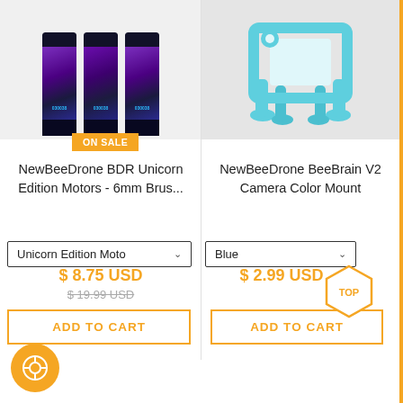[Figure (photo): Three NewBeeDrone BDR Unicorn Edition Motors with purple/dark blue metallic finish, shown side by side]
[Figure (photo): NewBeeDrone BeeBrain V2 Camera Color Mount in blue plastic, shown on light gray background]
ON SALE
NewBeeDrone BDR Unicorn Edition Motors - 6mm Brus...
NewBeeDrone BeeBrain V2 Camera Color Mount
Unicorn Edition Moto
Blue
$ 8.75 USD
$ 2.99 USD
$ 19.99 USD
ADD TO CART
ADD TO CART